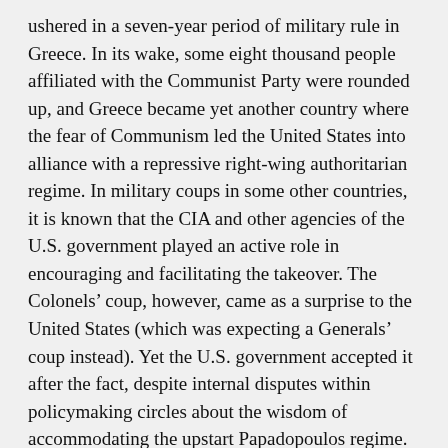ushered in a seven-year period of military rule in Greece. In its wake, some eight thousand people affiliated with the Communist Party were rounded up, and Greece became yet another country where the fear of Communism led the United States into alliance with a repressive right-wing authoritarian regime. In military coups in some other countries, it is known that the CIA and other agencies of the U.S. government played an active role in encouraging and facilitating the takeover. The Colonels’ coup, however, came as a surprise to the United States (which was expecting a Generals’ coup instead). Yet the U.S. government accepted it after the fact, despite internal disputes within policymaking circles about the wisdom of accommodating the upstart Papadopoulos regime. Keeley was among those dissenters.
REVIEWS
BIO